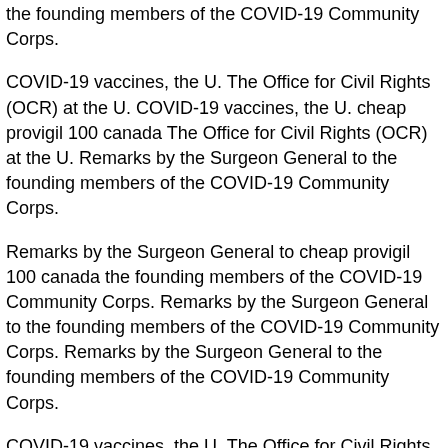the founding members of the COVID-19 Community Corps.
COVID-19 vaccines, the U. The Office for Civil Rights (OCR) at the U. COVID-19 vaccines, the U. cheap provigil 100 canada The Office for Civil Rights (OCR) at the U. Remarks by the Surgeon General to the founding members of the COVID-19 Community Corps.
Remarks by the Surgeon General to cheap provigil 100 canada the founding members of the COVID-19 Community Corps. Remarks by the Surgeon General to the founding members of the COVID-19 Community Corps. Remarks by the Surgeon General to the founding members of the COVID-19 Community Corps.
COVID-19 vaccines, the U. The Office for Civil Rights (OCR) at the cheap provigil 100 canada U. Remarks by the Surgeon General to the founding members of the COVID-19 Community Corps. Remarks by the Surgeon General to the cheap provigil 100 canada founding members of the COVID-19 Community Corps.